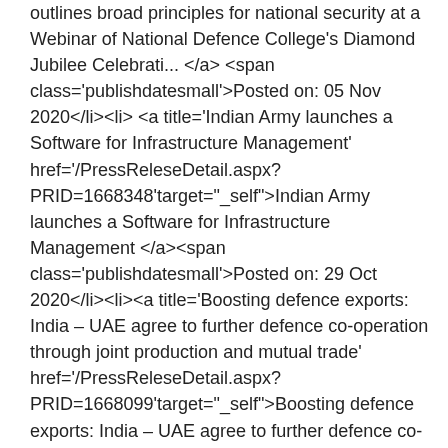outlines broad principles for national security at a Webinar of National Defence College's Diamond Jubilee Celebrati... </a><span class='publishdatesmall'>Posted on: 05 Nov 2020</li><li><a title='Indian Army launches a Software for Infrastructure Management' href='/PressReleseDetail.aspx?PRID=1668348'target="_self">Indian Army launches a Software for Infrastructure Management </a><span class='publishdatesmall'>Posted on: 29 Oct 2020</li><li><a title='Boosting defence exports: India – UAE agree to further defence co-operation through joint production and mutual trade' href='/PressReleseDetail.aspx?PRID=1668099'target="_self">Boosting defence exports: India – UAE agree to further defence co-operation through joint production and mutual trade </a><span class='publishdatesmall'>Posted on: 28 Oct 2020</li><li><a title='Raksha Mantri Shri Rajnath Singh dedicates to The Nation 44 Bridges Built by BRO across seven States and UTs;' href='/PressReleseDetail.aspx?PRID=1663654'target="_self">Raksha Mantri Shri Rajnath Singh dedicates to The Nation 44 Bridges Built by BRO across seven States and UTs; </a><span class='publishdatesmall'>Posted on: 12 Oct 2020</li><li><a title='Raksha Mantri Shri Rajnath Singh